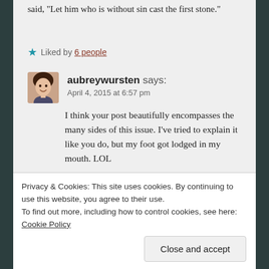said, “Let him who is without sin cast the first stone.”
Liked by 6 people
aubreywursten says: April 4, 2015 at 6:57 pm
I think your post beautifully encompasses the many sides of this issue. I’ve tried to explain it like you do, but my foot got lodged in my mouth. LOL
Liked by 2 people
Privacy & Cookies: This site uses cookies. By continuing to use this website, you agree to their use.
To find out more, including how to control cookies, see here: Cookie Policy
Close and accept